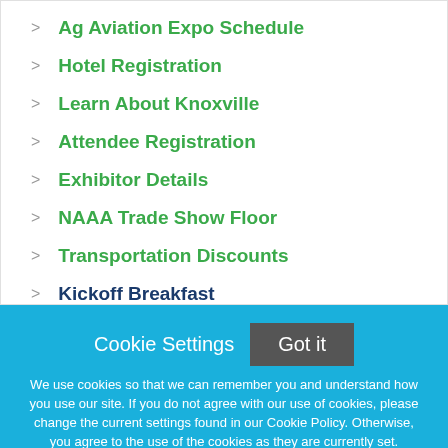> Ag Aviation Expo Schedule
> Hotel Registration
> Learn About Knoxville
> Attendee Registration
> Exhibitor Details
> NAAA Trade Show Floor
> Transportation Discounts
> Kickoff Breakfast
Cookie Settings
Got it
We use cookies so that we can remember you and understand how you use our site. If you do not agree with our use of cookies, please change the current settings found in our Cookie Policy. Otherwise, you agree to the use of the cookies as they are currently set.